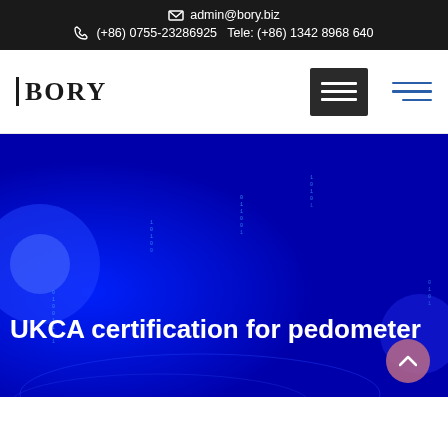✉ admin@bory.biz  📞 (+86) 0755-23286925  Tele: (+86) 1342 8968 640
[Figure (logo): BORY company logo with vertical bar before text]
[Figure (screenshot): Navigation bar with menu button (dark background with three white lines) in center and blue hamburger icon on right]
[Figure (illustration): Blue hero banner background with digital binary code vertical columns and abstract blue glowing light effects]
UKCA certification for pedometer